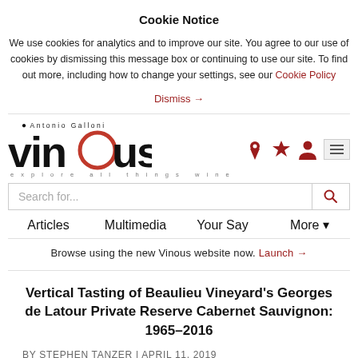Cookie Notice
We use cookies for analytics and to improve our site. You agree to our use of cookies by dismissing this message box or continuing to use our site. To find out more, including how to change your settings, see our Cookie Policy
Dismiss →
[Figure (logo): Vinous — Antonio Galloni logo with tagline 'explore all things wine']
Search for...
Articles
Multimedia
Your Say
More
Browse using the new Vinous website now. Launch →
Vertical Tasting of Beaulieu Vineyard's Georges de Latour Private Reserve Cabernet Sauvignon: 1965–2016
BY STEPHEN TANZER | APRIL 11, 2019